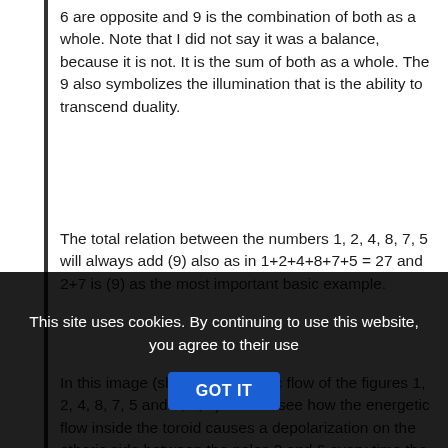6 are opposite and 9 is the combination of both as a whole. Note that I did not say it was a balance, because it is not. It is the sum of both as a whole. The 9 also symbolizes the illumination that is the ability to transcend duality.
The total relation between the numbers 1, 2, 4, 8, 7, 5 will always add (9) also as in 1+2+4+8+7+5 = 27 and 2+7 is (9) as the most important basic example.
In this image (showing energetic flow of the figures 1, 2, 4, 8, 7, 5 and 3, 6, 9) we can see how the energetic flow inside the toroid causes a depolarization on the etheric side between the poles 3 and 6 every time the energy flow is turned from one side to the other 1, 2, 4, 8, 7, 5 changing polarity with this. One polarity is dominated by 1, 2, 4 and the other by 8, 7, 5.
At the point in the center or (0) there is a release of energy
This site uses cookies. By continuing to use this website, you agree to their use GOT IT